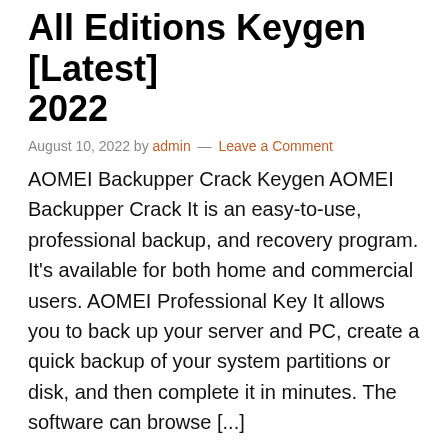All Editions Keygen [Latest] 2022
August 10, 2022 by admin — Leave a Comment
AOMEI Backupper Crack Keygen AOMEI Backupper Crack It is an easy-to-use, professional backup, and recovery program. It's available for both home and commercial users. AOMEI Professional Key It allows you to back up your server and PC, create a quick backup of your system partitions or disk, and then complete it in minutes. The software can browse [...]
[Figure (other): Social share buttons: Facebook, Twitter, Email, Share]